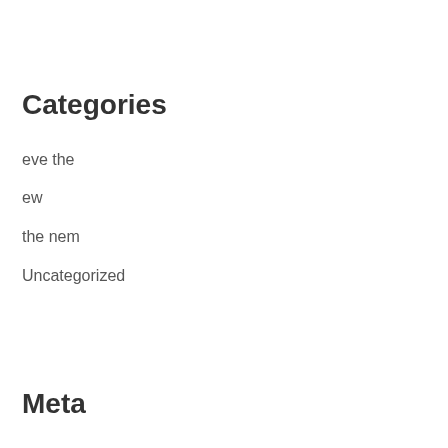Categories
eve the
ew
the nem
Uncategorized
Meta